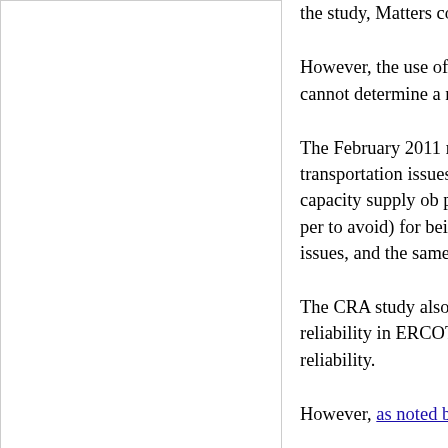[Figure (other): White rectangle/box, left side of page, no visible content]
the study, Matters concedes that the use of the 4,000 MW from the CRA study.
However, the use of the value c only loss of load values, but not concede we cannot determine a number in both studies or not, s
The February 2011 rolling outag capacity. They resulted from for and transportation issues. Depe outages and gas supply issues meeting their capacity supply ob payment. In other words, the ca incentive (such as through a per to avoid) for being available duri the capacity market would have supply issues, and the same inte
The CRA study also raises the s state, and loss of business expa supply reliability in ERCOT on q technology facilities." The report impacted by reliability.
However, as noted by our relate stories about the continued attr